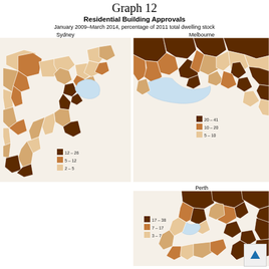Graph 12
Residential Building Approvals
January 2009–March 2014, percentage of 2011 total dwelling stock
[Figure (map): Choropleth map of Sydney showing residential building approvals Jan 2009–Mar 2014 as percentage of 2011 total dwelling stock. Legend: 12–26 (dark brown), 5–12 (medium brown), 2–5 (light brown/tan).]
[Figure (map): Choropleth map of Melbourne showing residential building approvals Jan 2009–Mar 2014 as percentage of 2011 total dwelling stock. Legend: 20–41 (dark brown), 10–20 (medium brown), 5–10 (light brown/tan).]
[Figure (map): Choropleth map of Perth showing residential building approvals Jan 2009–Mar 2014 as percentage of 2011 total dwelling stock. Legend: 17–38 (dark brown), 7–17 (medium brown), 3–7 (light brown/tan).]